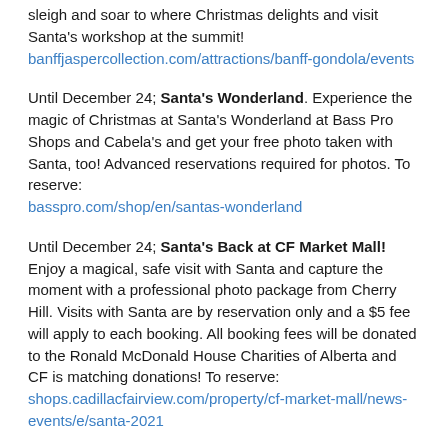sleigh and soar to where Christmas delights and visit Santa's workshop at the summit!
banffjaspercollection.com/attractions/banff-gondola/events
Until December 24; Santa's Wonderland. Experience the magic of Christmas at Santa's Wonderland at Bass Pro Shops and Cabela's and get your free photo taken with Santa, too! Advanced reservations required for photos. To reserve:
basspro.com/shop/en/santas-wonderland
Until December 24; Santa's Back at CF Market Mall! Enjoy a magical, safe visit with Santa and capture the moment with a professional photo package from Cherry Hill. Visits with Santa are by reservation only and a $5 fee will apply to each booking. All booking fees will be donated to the Ronald McDonald House Charities of Alberta and CF is matching donations! To reserve:
shops.cadillacfairview.com/property/cf-market-mall/news-events/e/santa-2021
Twinkling Lights